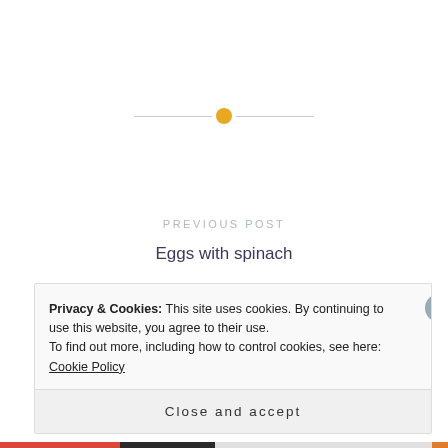[Figure (other): Horizontal divider line with an orange circle dot in the center]
PREVIOUS POST
Eggs with spinach
NEXT POST
Bread
Privacy & Cookies: This site uses cookies. By continuing to use this website, you agree to their use.
To find out more, including how to control cookies, see here: Cookie Policy
Close and accept